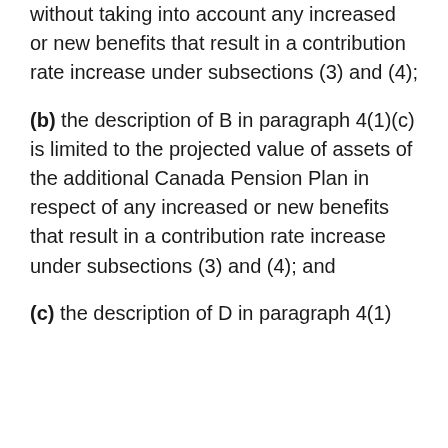without taking into account any increased or new benefits that result in a contribution rate increase under subsections (3) and (4);
(b) the description of B in paragraph 4(1)(c) is limited to the projected value of assets of the additional Canada Pension Plan in respect of any increased or new benefits that result in a contribution rate increase under subsections (3) and (4); and
(c) the description of D in paragraph 4(1)